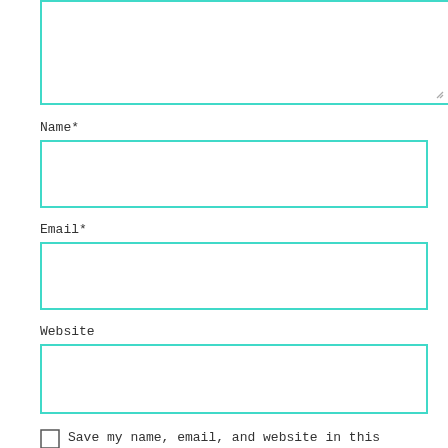[Figure (screenshot): A web form comment textarea (partial, top cut off) with teal/turquoise border, resizable]
Name*
[Figure (screenshot): Name input field with teal border]
Email*
[Figure (screenshot): Email input field with teal border]
Website
[Figure (screenshot): Website input field with teal border]
Save my name, email, and website in this browser for the next time I comment.